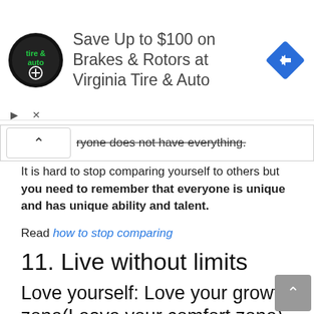[Figure (other): Advertisement banner for Virginia Tire & Auto showing logo, text 'Save Up to $100 on Brakes & Rotors at Virginia Tire & Auto', and a blue diamond-shaped arrow icon]
ryone does not have everything.
It is hard to stop comparing yourself to others but you need to remember that everyone is unique and has unique ability and talent.
Read how to stop comparing
11. Live without limits
Love yourself: Love your growth zone(Leave your comfort zone)
Self-love doesn't mean that you need to